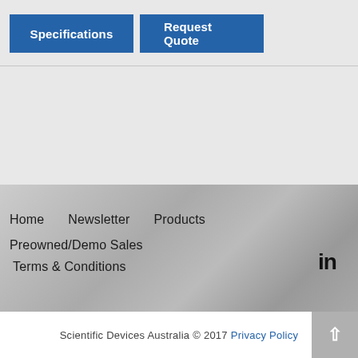[Figure (other): Two blue navigation buttons: 'Specifications' and 'Request Quote']
Home   Newsletter   Products   Preowned/Demo Sales   Terms & Conditions
[Figure (other): LinkedIn icon in footer]
Scientific Devices Australia © 2017 Privacy Policy